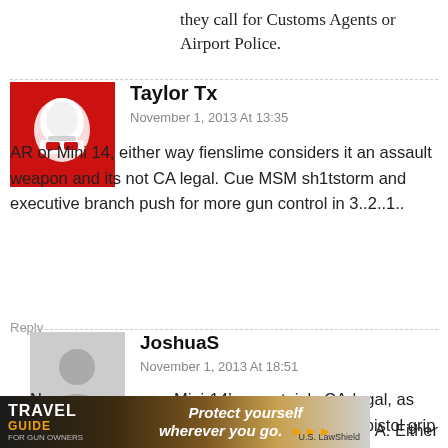they call for Customs Agents or Airport Police.
Taylor Tx
November 1, 2013 At 13:35
AR or Mini 14, either way fienslime considers it an assault weapon and its not CA legal. Cue MSM sh1tstorm and executive branch push for more gun control in 3..2..1..
Reply
JoshuaS
November 1, 2013 At 18:51
No, you are wrong. Mini-14’s a certainly CA-legal, as long as they lack the “evil features” such as a pistol grip
[Figure (illustration): Advertisement banner: Travel Guide for Gun Owners - Protect yourself wherever you go. U.S. LawShield logo. Partial text 'A. Either']